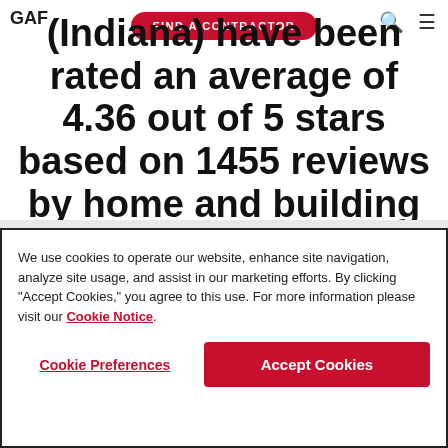GAF | FIND A CONTRACTOR
(Indiana) have been rated an average of 4.36 out of 5 stars based on 1455 reviews by home and building owners in your area.
We use cookies to operate our website, enhance site navigation, analyze site usage, and assist in our marketing efforts. By clicking "Accept Cookies," you agree to this use. For more information please visit our Cookie Notice.
Cookie Preferences | Accept Cookies